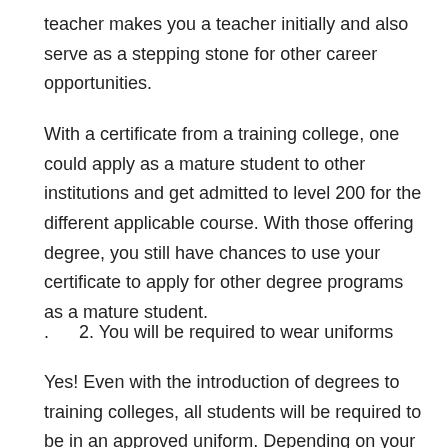teacher makes you a teacher initially and also serve as a stepping stone for other career opportunities.
With a certificate from a training college, one could apply as a mature student to other institutions and get admitted to level 200 for the different applicable course. With those offering degree, you still have chances to use your certificate to apply for other degree programs as a mature student.
.      2. You will be required to wear uniforms
Yes! Even with the introduction of degrees to training colleges, all students will be required to be in an approved uniform. Depending on your